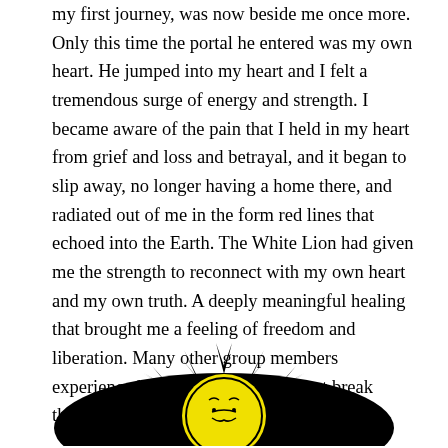my first journey, was now beside me once more. Only this time the portal he entered was my own heart. He jumped into my heart and I felt a tremendous surge of energy and strength. I became aware of the pain that I held in my heart from grief and loss and betrayal, and it began to slip away, no longer having a home there, and radiated out of me in the form red lines that echoed into the Earth. The White Lion had given me the strength to reconnect with my own heart and my own truth. A deeply meaningful healing that brought me a feeling of freedom and liberation. Many other group members experienced deep healing, significant break throughs, and visions of their soul destiny.
[Figure (illustration): A stylized black-and-white sun illustration with bold radiating rays and a yellow circular center, rendered in a woodcut or linocut style.]